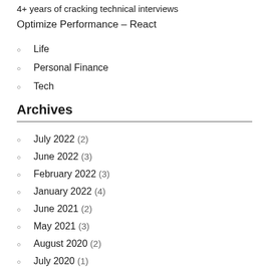4+ years of cracking technical interviews
Optimize Performance – React
Life
Personal Finance
Tech
Archives
July 2022 (2)
June 2022 (3)
February 2022 (3)
January 2022 (4)
June 2021 (2)
May 2021 (3)
August 2020 (2)
July 2020 (1)